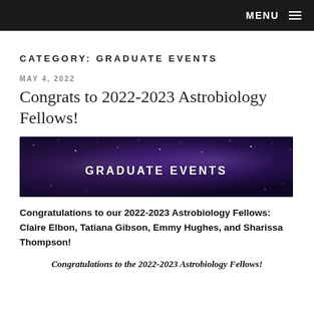MENU
CATEGORY: GRADUATE EVENTS
MAY 4, 2022
Congrats to 2022-2023 Astrobiology Fellows!
[Figure (illustration): Dark space/galaxy background banner image with bold white text reading GRADUATE EVENTS]
Congratulations to our 2022-2023 Astrobiology Fellows: Claire Elbon, Tatiana Gibson, Emmy Hughes, and Sharissa Thompson!
Congratulations to the 2022-2023 Astrobiology Fellows!